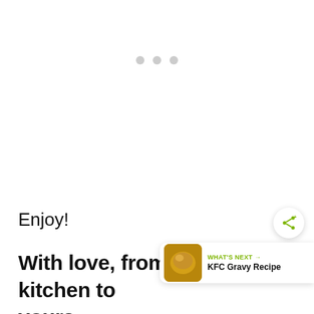[Figure (other): Three light gray dots (loading/carousel indicator) centered near the top of the page]
Enjoy!
With love, from our simple kitchen to yours.